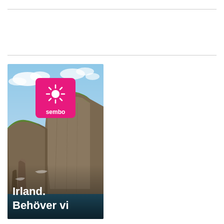[Figure (photo): Advertisement banner for Sembo travel. Shows dramatic coastal cliffs of Ireland (Cliffs of Moher) with turquoise ocean waves, green clifftop, rocky sea stacks, blue sky with white clouds. Sembo logo (pink/magenta square with white sun icon and 'sembo' text) overlaid near top center. Bold white text at bottom reads 'Irland. Behöver vi' (partially visible).]